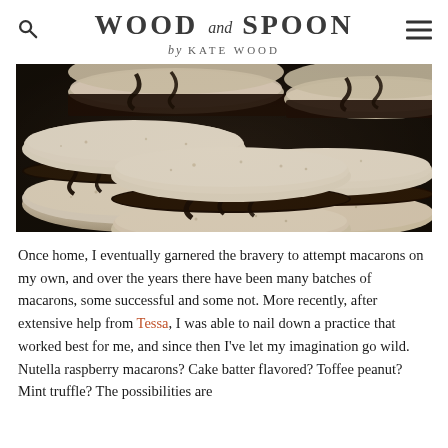WOOD and SPOON by KATE WOOD
[Figure (photo): Close-up photo of multiple French macarons filled with dark chocolate ganache, stacked and arranged closely together. The macarons have ivory/cream-colored shells with chocolate drizzle visible.]
Once home, I eventually garnered the bravery to attempt macarons on my own, and over the years there have been many batches of macarons, some successful and some not. More recently, after extensive help from Tessa, I was able to nail down a practice that worked best for me, and since then I've let my imagination go wild. Nutella raspberry macarons? Cake batter flavored? Toffee peanut? Mint truffle? The possibilities are